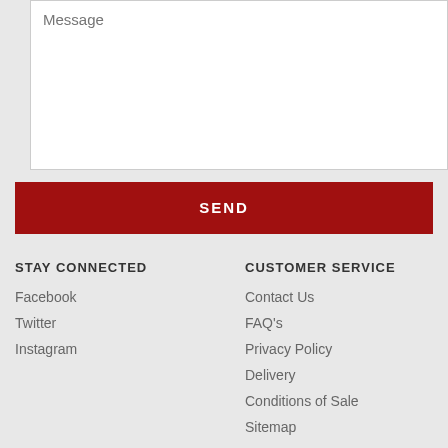[Figure (screenshot): Text area input field with placeholder text 'Message']
SEND
STAY CONNECTED
Facebook
Twitter
Instagram
CUSTOMER SERVICE
Contact Us
FAQ's
Privacy Policy
Delivery
Conditions of Sale
Sitemap